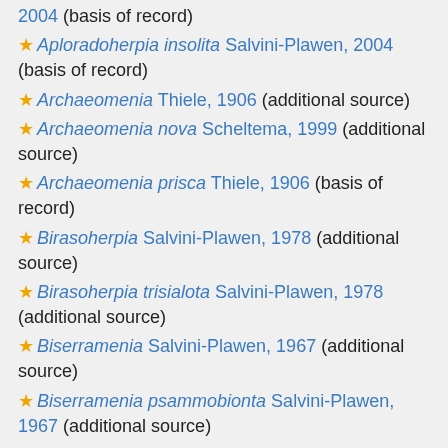2004 (basis of record)
★ Aploradoherpia insolita Salvini-Plawen, 2004 (basis of record)
★ Archaeomenia Thiele, 1906 (additional source)
★ Archaeomenia nova Scheltema, 1999 (additional source)
★ Archaeomenia prisca Thiele, 1906 (basis of record)
★ Birasoherpia Salvini-Plawen, 1978 (additional source)
★ Birasoherpia trisialota Salvini-Plawen, 1978 (additional source)
★ Biserramenia Salvini-Plawen, 1967 (additional source)
★ Biserramenia psammobionta Salvini-Plawen, 1967 (additional source)
★ Cyclomenia Nierstrasz, 1902 (basis of record)
★ Cyclomenia holosericea Nierstrasz, 1902 (basis of record)
★ Dinomenia Nierstrasz, 1902 (basis of record)